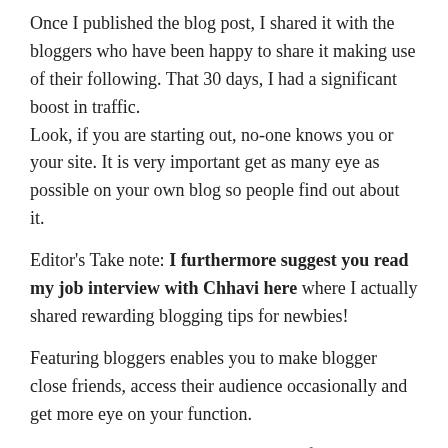Once I published the blog post, I shared it with the bloggers who have been happy to share it making use of their following. That 30 days, I had a significant boost in traffic.
Look, if you are starting out, no-one knows you or your site. It is very important get as many eye as possible on your own blog so people find out about it.
Editor's Take note: I furthermore suggest you read my job interview with Chhavi here where I actually shared rewarding blogging tips for newbies!
Featuring bloggers enables you to make blogger close friends, access their audience occasionally and get more eye on your function.
But I would like to give out a phrase of caution. Always